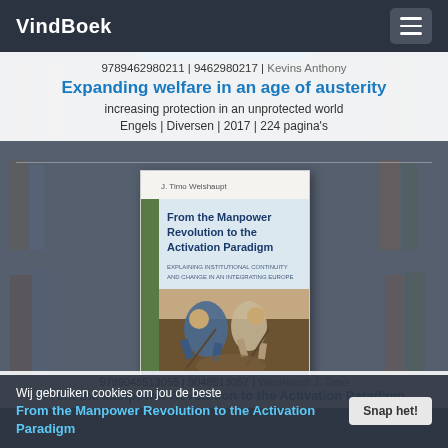VindBoek
9789462980211 | 9462980217 | Kevins Anthony
Expanding welfare in an age of austerity
increasing protection in an unprotected world
Engels | Diversen | 2017 | 224 pagina's
[Figure (photo): Book cover: 'From the Manpower Revolution to the Activation Paradigm' by J. Timo Weishaupt, Amsterdam University Press. Cover shows a painting of two laborers digging.]
9789048513055 | 9048513057 | Weishaupt J. Timo
From the Manpower Revolution to the Activation Paradigm
Wij gebruiken cookies om jou de beste
Snap het!